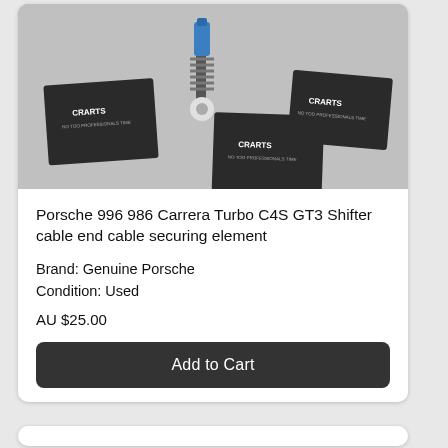[Figure (photo): Product photo showing a Porsche shifter cable end securing element alongside three black branded cards/stickers on a grey surface]
Porsche 996 986 Carrera Turbo C4S GT3 Shifter cable end cable securing element
Brand: Genuine Porsche
Condition: Used
AU $25.00
Add to Cart